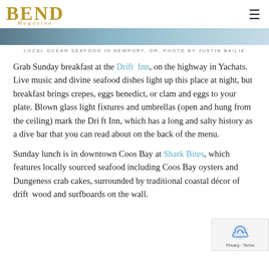BEND Magazine
[Figure (photo): Partial view of Local Ocean Seafood in Newport, OR — a coastal-toned photo strip]
LOCAL OCEAN SEAFOOD IN NEWPORT, OR. PHOTO BY JUSTIN BAILIE
Grab Sunday breakfast at the Drift Inn, on the highway in Yachats. Live music and divine seafood dishes light up this place at night, but breakfast brings crepes, eggs benedict, or clam and eggs to your plate. Blown glass light fixtures and umbrellas (open and hung from the ceiling) mark the Drift Inn, which has a long and salty history as a dive bar that you can read about on the back of the menu.
Sunday lunch is in downtown Coos Bay at Shark Bites, which features locally sourced seafood including Coos Bay oysters and Dungeness crab cakes, surrounded by traditional coastal décor of drift wood and surfboards on the wall.